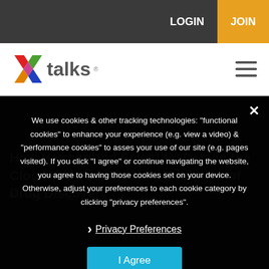LOGIN   JOIN
[Figure (logo): Xtalks logo with colorful X icon and 'talks' text]
We use cookies & other tracking technologies: "functional cookies" to enhance your experience (e.g. view a video) & "performance cookies" to asses your use of our site (e.g. pages visited). If you click "I agree" or continue navigating the website, you agree to having those cookies set on your device. Otherwise, adjust your preferences to each cookie category by clicking "privacy preferences".
Privacy Preferences
I Agree